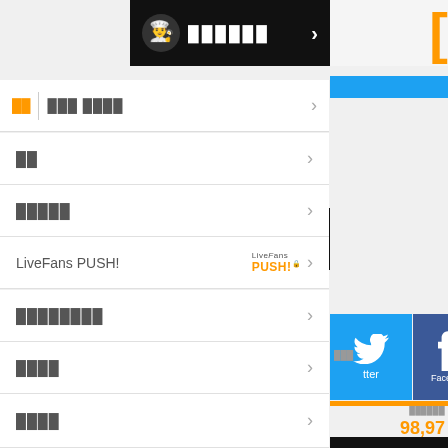[Figure (screenshot): Black navigation bar with chef/hat icon and Japanese text, white arrow on right]
ログイン
[Figure (screenshot): Black navigation bar with home/flag icon and Japanese text, white arrow]
[Figure (other): Orange bordered input box with placeholder text]
日記
プロフィール設定
LiveFans PUSH!
プッシュ通知設定
ライブ通知
その他
[Figure (screenshot): Twitter button (blue) and Facebook button (blue) on right side]
98,97
[Figure (photo): VISA credit card held by hand]